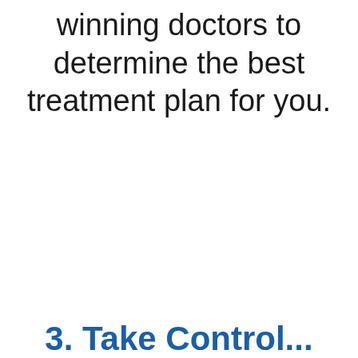winning doctors to determine the best treatment plan for you.
3. Take Control...